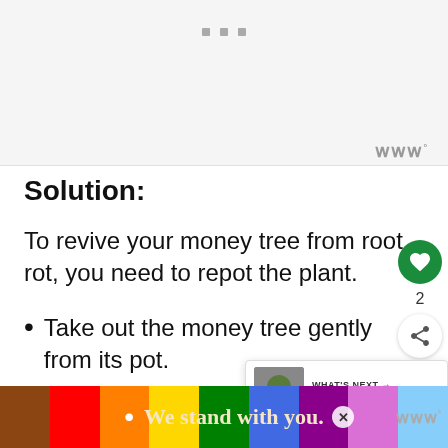[Figure (other): Gray placeholder/ad area at top of page with three small gray square dots centered at top and a weathernews logo (www°) at bottom right]
Solution:
To revive your money tree from root rot, you need to repot the plant.
Take out the money tree gently from its pot.
[Figure (other): Social sidebar with green heart button (2 likes) and share button]
[Figure (other): What's Next popup showing 'When Do You Repot...' article with plant image]
[Figure (other): Bottom advertisement bar with pride flag rainbow stripes and text 'We stand with you.' with close button and weathernews logo]